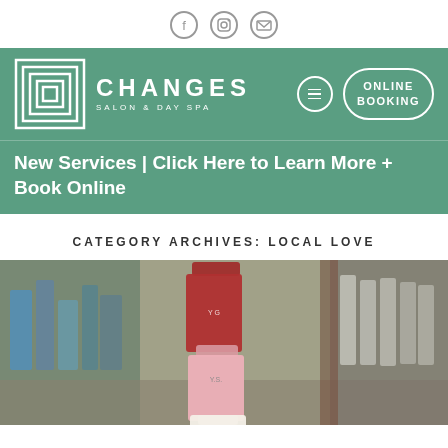[Figure (other): Social media icons: Facebook, Instagram, Email circles]
[Figure (logo): Changes Salon & Day Spa logo with green background banner, menu icon, and Online Booking button]
New Services | Click Here to Learn More + Book Online
CATEGORY ARCHIVES: LOCAL LOVE
[Figure (photo): Photo of salon product bottles (crimson, pink, white) stacked on a counter with shelves of products in the background]